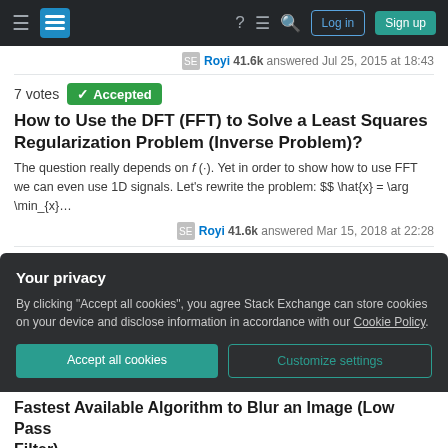Stack Exchange navigation bar with Log in and Sign up buttons
Royi 41.6k answered Jul 25, 2015 at 18:43
7 votes  Accepted
How to Use the DFT (FFT) to Solve a Least Squares Regularization Problem (Inverse Problem)?
The question really depends on f(·). Yet in order to show how to use FFT we can even use 1D signals. Let's rewrite the problem: $$ \hat{x} = \arg \min_{x}...
Royi 41.6k answered Mar 15, 2018 at 22:28
7 votes
Solving LASSO (L₁ Regularized Least Squares) with Gradient Descent
Your privacy
By clicking "Accept all cookies", you agree Stack Exchange can store cookies on your device and disclose information in accordance with our Cookie Policy.
Accept all cookies
Customize settings
Fastest Available Algorithm to Blur an Image (Low Pass Filter)